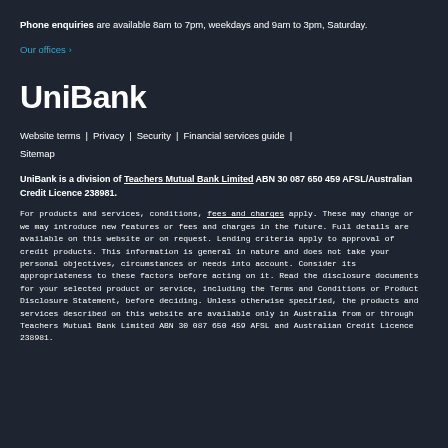Phone enquiries are available 8am to 7pm, weekdays and 9am to 3pm, Saturday.
Our offices >
[Figure (logo): UniBank logo in white bold text on dark background]
Website terms | Privacy | Security | Financial services guide | Sitemap
UniBank is a division of Teachers Mutual Bank Limited ABN 30 087 650 459 AFSL/Australian Credit Licence 238981.
For products and services, conditions, fees and charges apply. These may change or we may introduce new features or fees and charges in the future. Full details are available on this website or on request. Lending criteria apply to approval of credit products. This information is general in nature and does not take your personal objectives, circumstances or needs into account. Consider its appropriateness to these factors before acting on it. Read the disclosure documents for your selected product or service, including the Terms and Conditions or Product Disclosure Statement, before deciding. Unless otherwise specified, the products and services described on this website are available only in Australia from or through Teachers Mutual Bank Limited ABN 30 087 650 459 AFSL and Australian Credit Licence 238981.